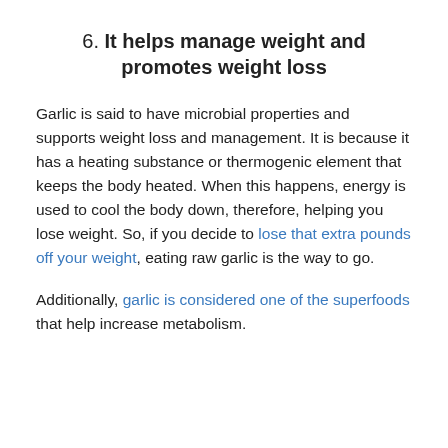6. It helps manage weight and promotes weight loss
Garlic is said to have microbial properties and supports weight loss and management. It is because it has a heating substance or thermogenic element that keeps the body heated. When this happens, energy is used to cool the body down, therefore, helping you lose weight. So, if you decide to lose that extra pounds off your weight, eating raw garlic is the way to go.
Additionally, garlic is considered one of the superfoods that help increase metabolism.